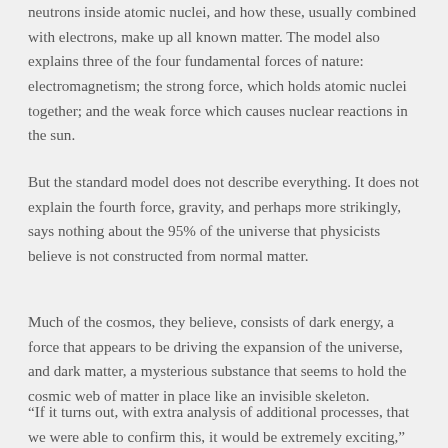neutrons inside atomic nuclei, and how these, usually combined with electrons, make up all known matter. The model also explains three of the four fundamental forces of nature: electromagnetism; the strong force, which holds atomic nuclei together; and the weak force which causes nuclear reactions in the sun.
But the standard model does not describe everything. It does not explain the fourth force, gravity, and perhaps more strikingly, says nothing about the 95% of the universe that physicists believe is not constructed from normal matter.
Much of the cosmos, they believe, consists of dark energy, a force that appears to be driving the expansion of the universe, and dark matter, a mysterious substance that seems to hold the cosmic web of matter in place like an invisible skeleton.
“If it turns out, with extra analysis of additional processes, that we were able to confirm this, it would be extremely exciting,” Parkes said. It would mean there is